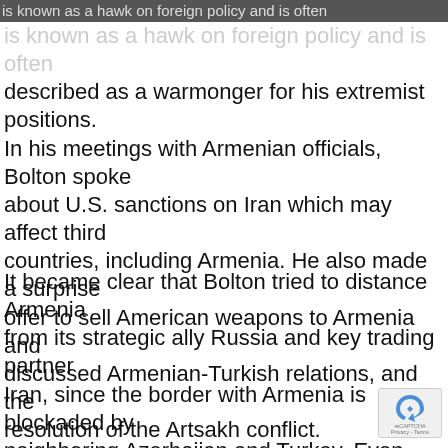is known as a hawk on foreign policy and is often described as a warmonger for his extremist positions.
is known as a hawk on foreign policy and is often described as a warmonger for his extremist positions. In his meetings with Armenian officials, Bolton spoke about U.S. sanctions on Iran which may affect third countries, including Armenia. He also made a surprise offer to sell American weapons to Armenia and discussed Armenian-Turkish relations, and the resolution of the Artsakh conflict.
It became clear that Bolton tried to distance Armenia from its strategic ally Russia and key trading partner Iran, since the border with Armenia is blockaded by neighboring Azerbaijan and Turkey. Even though serious concerns were expressed by many Armenian officials,